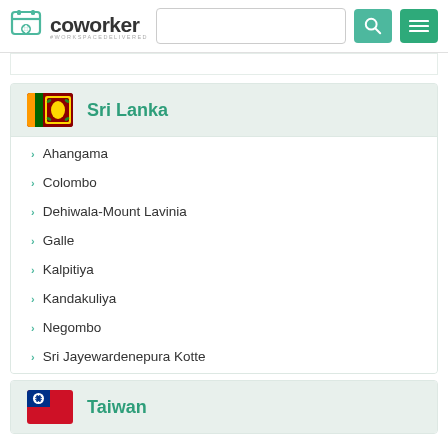coworker #WORKSPACEDELIVERED
Sri Lanka
Ahangama
Colombo
Dehiwala-Mount Lavinia
Galle
Kalpitiya
Kandakuliya
Negombo
Sri Jayewardenepura Kotte
Taiwan